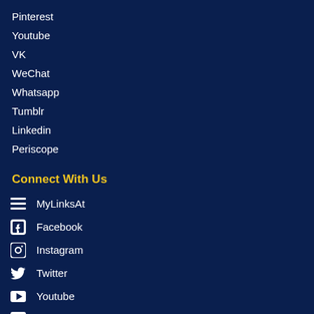Pinterest
Youtube
VK
WeChat
Whatsapp
Tumblr
Linkedin
Periscope
Connect With Us
MyLinksAt
Facebook
Instagram
Twitter
Youtube
Linkedin